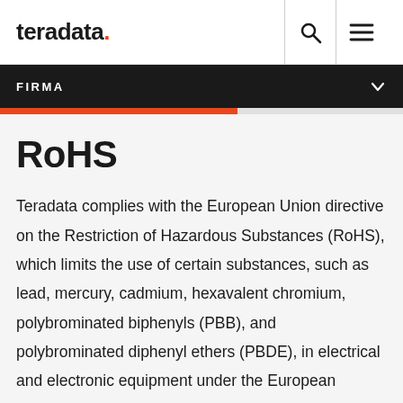teradata.
FIRMA
RoHS
Teradata complies with the European Union directive on the Restriction of Hazardous Substances (RoHS), which limits the use of certain substances, such as lead, mercury, cadmium, hexavalent chromium, polybrominated biphenyls (PBB), and polybrominated diphenyl ethers (PBDE), in electrical and electronic equipment under the European Community